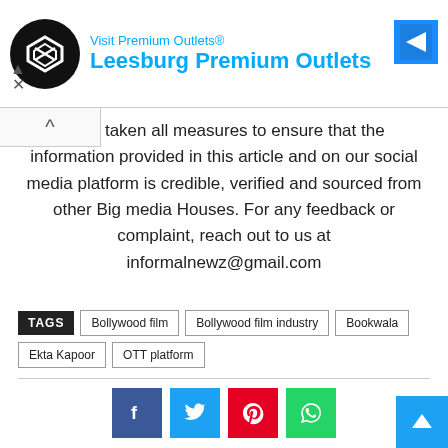[Figure (other): Advertisement banner for Leesburg Premium Outlets with logo and navigation icon]
have taken all measures to ensure that the information provided in this article and on our social media platform is credible, verified and sourced from other Big media Houses. For any feedback or complaint, reach out to us at informalnewz@gmail.com
TAGS  Bollywood film  Bollywood film industry  Bookwala  Ekta Kapoor  OTT platform
[Figure (other): Social media share buttons: Facebook, Twitter, Pinterest, WhatsApp]